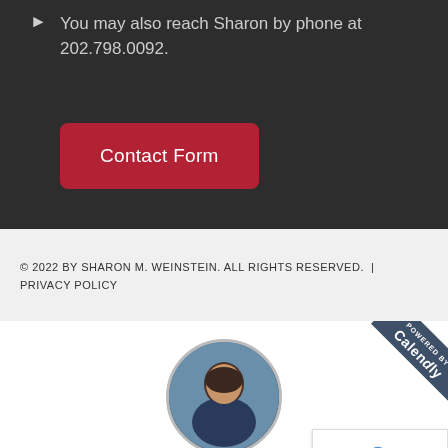You may also reach Sharon by phone at 202.798.0092.
Contact Form
© 2022 BY SHARON M. WEINSTEIN. ALL RIGHTS RESERVED.  |  PRIVACY POLICY
[Figure (photo): Circular profile photo of Sharon Weinstein]
Sharon Weinstein